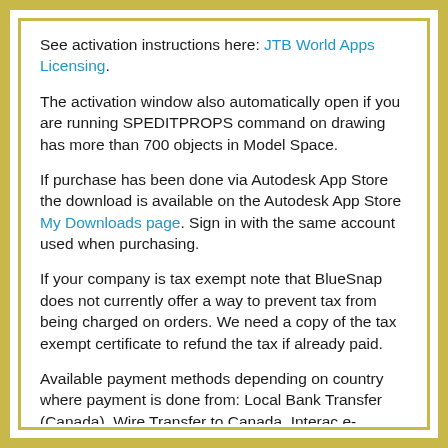See activation instructions here: JTB World Apps Licensing.
The activation window also automatically open if you are running SPEDITPROPS command on drawing has more than 700 objects in Model Space.
If purchase has been done via Autodesk App Store the download is available on the Autodesk App Store My Downloads page. Sign in with the same account used when purchasing.
If your company is tax exempt note that BlueSnap does not currently offer a way to prevent tax from being charged on orders. We need a copy of the tax exempt certificate to refund the tax if already paid.
Available payment methods depending on country where payment is done from: Local Bank Transfer (Canada), Wire Transfer to Canada, Interac e-Transfer, Cheque (to Canada). Via BlueSnap (Global Payment Gateway) these methods may be available (not a complete list as it is updated from time to time by BlueSnap): Credit card (Visa, Master Card, American Express, Discover, Diners Club, JCB, Carte Bleue), PayPal, Local Bank Transfer, Wire Transfer, ACH, Google Pay, UK Direct Debit, Smart Debit, Real-time